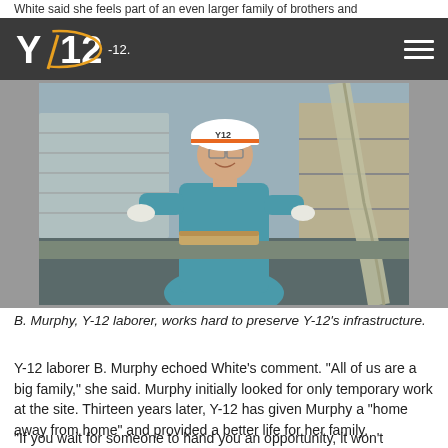White said she feels part of an even larger family of brothers and sisters at Y-12.
[Figure (photo): B. Murphy, a Y-12 laborer wearing a white Y-12 hard hat and teal scrubs, smiling and posing in an industrial workshop setting with tools and shelving in the background.]
B. Murphy, Y-12 laborer, works hard to preserve Y-12's infrastructure.
Y-12 laborer B. Murphy echoed White's comment. “All of us are a big family,” she said. Murphy initially looked for only temporary work at the site. Thirteen years later, Y-12 has given Murphy a “home away from home” and provided a better life for her family.
“If you wait for someone to hand you an opportunity, it won’t happen,” Murphy said. “My biggest piece of advice to future